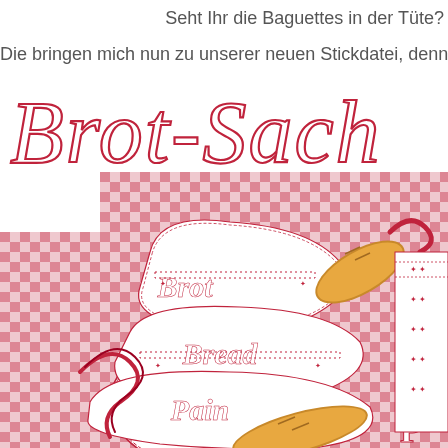Seht Ihr die Baguettes in der Tüte?
Die bringen mich nun zu unserer neuen Stickdatei, denn da
Brot-Sach
[Figure (photo): Photo of bread/baguettes on a red and white gingham cloth with embroidered white bag labels reading 'Brot', 'Bread', 'Pain' in white script with red decorative embroidery borders, red ribbon, and golden baguettes.]